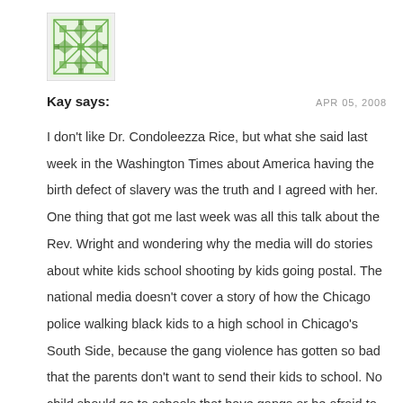[Figure (illustration): Green geometric pattern avatar/icon, square with decorative cross/diamond motif in green tones]
Kay says:
APR 05, 2008
I don't like Dr. Condoleezza Rice, but what she said last week in the Washington Times about America having the birth defect of slavery was the truth and I agreed with her. One thing that got me last week was all this talk about the Rev. Wright and wondering why the media will do stories about white kids school shooting by kids going postal. The national media doesn't cover a story of how the Chicago police walking black kids to a high school in Chicago's South Side, because the gang violence has gotten so bad that the parents don't want to send their kids to school. No child should go to schools that have gangs or be afraid to go to school. How many white people would stay in a hotel in Chicago's South Side or the Chicago West Side?
One more thing China is buying up Africa and I don't think they will treat the Africans any better.